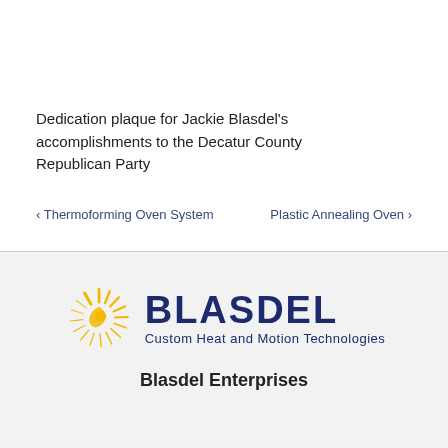Dedication plaque for Jackie Blasdel's accomplishments to the Decatur County Republican Party
< Thermoforming Oven System    Plastic Annealing Oven >
[Figure (logo): Blasdel Enterprises logo: sunburst/spiral golden icon with 'BLASDEL' in dark navy bold text and 'Custom Heat and Motion Technologies' subtitle]
Blasdel Enterprises